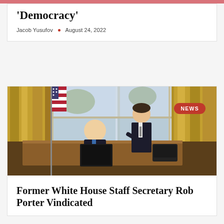'Democracy'
Jacob Yusufov • August 24, 2022
[Figure (photo): Two men in suits in the Oval Office, one seated at a desk reading a document, another standing beside him. American flag and gold curtains visible in background. NEWS badge overlay top right.]
Former White House Staff Secretary Rob Porter Vindicated